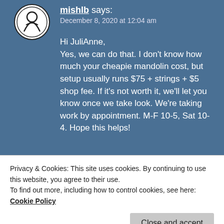[Figure (logo): Circular black and white avatar/logo icon]
mishlb says:
December 8, 2020 at 12:04 am
Hi JuliAnne,
Yes, we can do that. I don't know how much your cheapie mandolin cost, but setup usually runs $75 + strings + $5 shop fee. If it's not worth it, we'll let you know once we take look. We're taking work by appointment. M-F 10-5, Sat 10-4. Hope this helps!
Like
Reply
Privacy & Cookies: This site uses cookies. By continuing to use this website, you agree to their use.
To find out more, including how to control cookies, see here: Cookie Policy
Close and accept